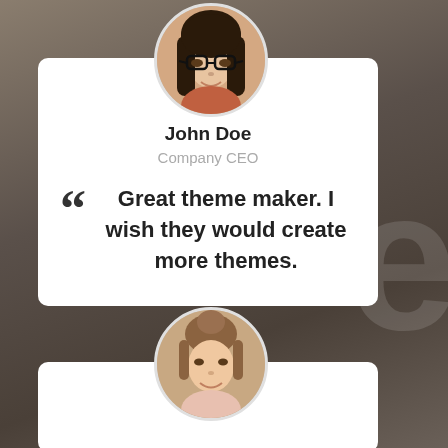[Figure (photo): Testimonial card for John Doe, Company CEO, with circular avatar photo of a young woman with dark hair and glasses, and a quote reading: Great theme maker. I wish they would create more themes.]
John Doe
Company CEO
Great theme maker. I wish they would create more themes.
[Figure (photo): Partial second testimonial card with circular avatar photo of a smiling woman with light brown updo hair, card content not fully visible.]